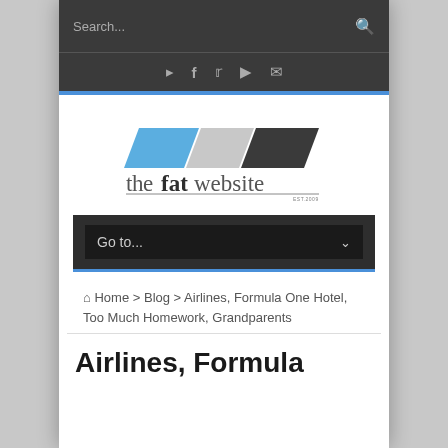Search...
[Figure (logo): thefatwebsite logo with three parallelogram shapes (blue, gray, dark) and text 'thefatwebsite EST 2009']
Go to...
🏠 Home > Blog > Airlines, Formula One Hotel, Too Much Homework, Grandparents
Airlines, Formula